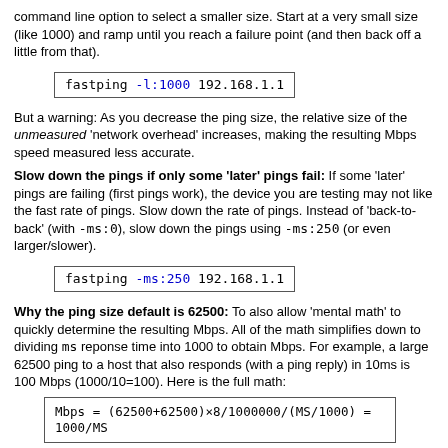command line option to select a smaller size. Start at a very small size (like 1000) and ramp until you reach a failure point (and then back off a little from that).
But a warning: As you decrease the ping size, the relative size of the unmeasured 'network overhead' increases, making the resulting Mbps speed measured less accurate.
Slow down the pings if only some 'later' pings fail: If some 'later' pings are failing (first pings work), the device you are testing may not like the fast rate of pings. Slow down the rate of pings. Instead of 'back-to-back' (with -ms:0), slow down the pings using -ms:250 (or even larger/slower).
Why the ping size default is 62500: To also allow 'mental math' to quickly determine the resulting Mbps. All of the math simplifies down to dividing ms reponse time into 1000 to obtain Mbps. For example, a large 62500 ping to a host that also responds (with a ping reply) in 10ms is 100 Mbps (1000/10=100). Here is the full math:
Also, a size of 62500 is large enough to make the unmeasured 'network overhead' relatively small, making the calculated Mbps very close (a